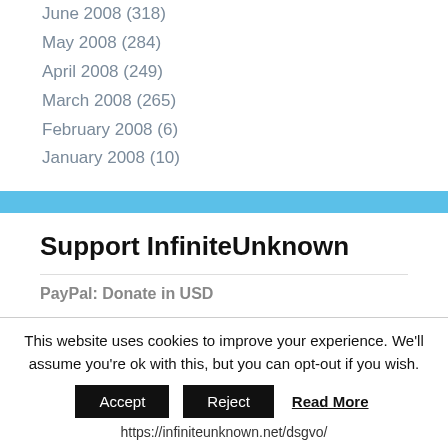June 2008 (318)
May 2008 (284)
April 2008 (249)
March 2008 (265)
February 2008 (6)
January 2008 (10)
Support InfiniteUnknown
PayPal: Donate in USD
This website uses cookies to improve your experience. We'll assume you're ok with this, but you can opt-out if you wish.
https://infiniteunknown.net/dsgvo/